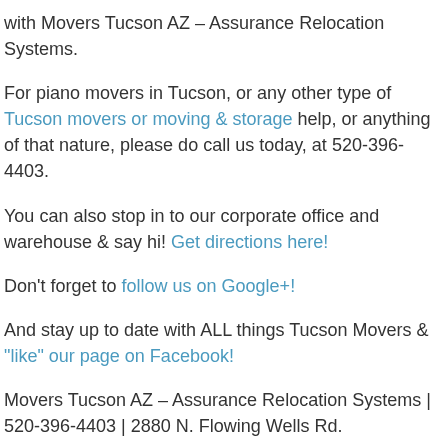with Movers Tucson AZ – Assurance Relocation Systems.
For piano movers in Tucson, or any other type of Tucson movers or moving & storage help, or anything of that nature, please do call us today, at 520-396-4403.
You can also stop in to our corporate office and warehouse & say hi! Get directions here!
Don't forget to follow us on Google+!
And stay up to date with ALL things Tucson Movers & "like" our page on Facebook!
Movers Tucson AZ – Assurance Relocation Systems | 520-396-4403 | 2880 N. Flowing Wells Rd.